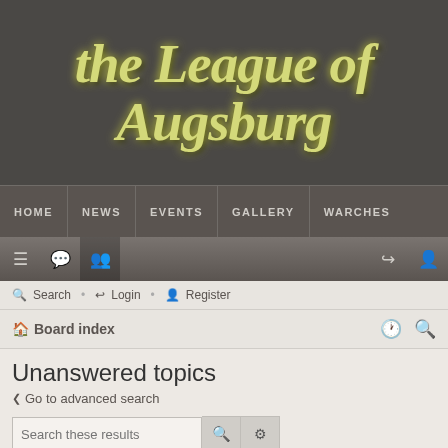[Figure (logo): The League of Augsburg website banner logo with decorative gothic/blackletter style text on dark grey background]
HOME | NEWS | EVENTS | GALLERY | WARCHES
toolbar icons: menu, chat, members, login, register
Search   Login   Register
Board index
Unanswered topics
Go to advanced search
Search these results
Search found more than 1000 matches   1  2  3  4  5  ...  20  >